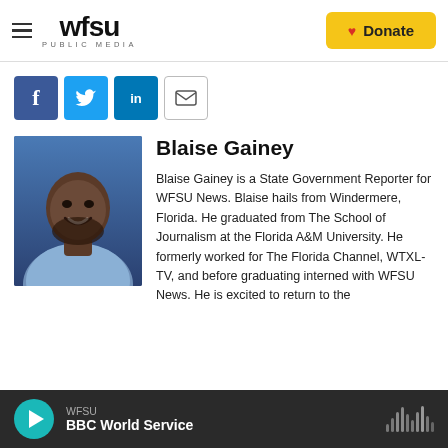[Figure (logo): WFSU Public Media logo with hamburger menu icon]
[Figure (illustration): Yellow Donate button with red heart icon]
[Figure (illustration): Social sharing icons: Facebook (blue), Twitter (blue), LinkedIn (blue), Email (white outlined)]
[Figure (photo): Headshot photo of Blaise Gainey, a young Black man in a light blue shirt smiling, against a blue background]
Blaise Gainey
Blaise Gainey is a State Government Reporter for WFSU News. Blaise hails from Windermere, Florida. He graduated from The School of Journalism at the Florida A&M University. He formerly worked for The Florida Channel, WTXL-TV, and before graduating interned with WFSU News. He is excited to return to the
WFSU
BBC World Service